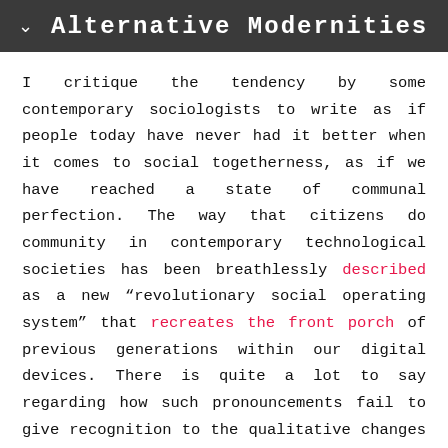Alternative Modernities
I critique the tendency by some contemporary sociologists to write as if people today have never had it better when it comes to social togetherness, as if we have reached a state of communal perfection. The way that citizens do community in contemporary technological societies has been breathlessly described as a new “revolutionary social operating system” that recreates the front porch of previous generations within our digital devices. There is quite a lot to say regarding how such pronouncements fail to give recognition to the qualitative changes to social life in the digital age, changes that